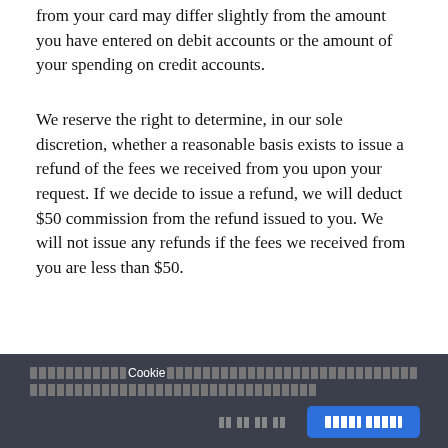from your card may differ slightly from the amount you have entered on debit accounts or the amount of your spending on credit accounts.
We reserve the right to determine, in our sole discretion, whether a reasonable basis exists to issue a refund of the fees we received from you upon your request. If we decide to issue a refund, we will deduct $50 commission from the refund issued to you. We will not issue any refunds if the fees we received from you are less than $50.
jooble
Jooble
Cookie [redacted text]